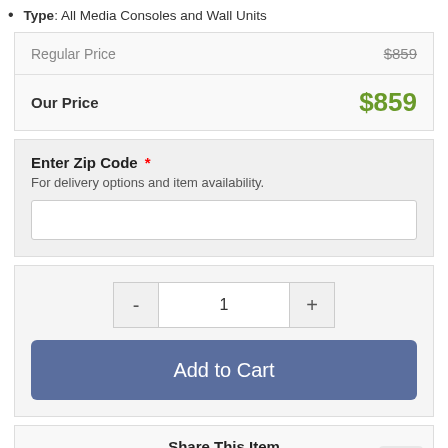Type: All Media Consoles and Wall Units
| Label | Price |
| --- | --- |
| Regular Price | $859 |
| Our Price | $859 |
Enter Zip Code * For delivery options and item availability.
1
Add to Cart
Share This Item